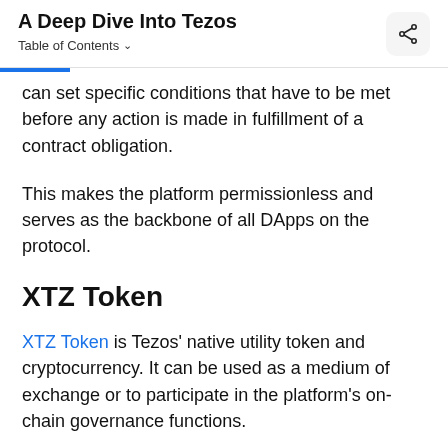A Deep Dive Into Tezos
Table of Contents
can set specific conditions that have to be met before any action is made in fulfillment of a contract obligation.
This makes the platform permissionless and serves as the backbone of all DApps on the protocol.
XTZ Token
XTZ Token is Tezos' native utility token and cryptocurrency. It can be used as a medium of exchange or to participate in the platform's on-chain governance functions.